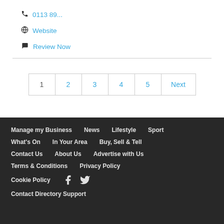📞 0113 89...
🌐 Website
💬 Review Now
| 1 | 2 | 3 | 4 | 5 | Next |
| --- | --- | --- | --- | --- | --- |
Manage my Business  News  Lifestyle  Sport  What's On  In Your Area  Buy, Sell & Tell  Contact Us  About Us  Advertise with Us  Terms & Conditions  Privacy Policy  Cookie Policy  [Facebook] [Twitter]  Contact Directory Support